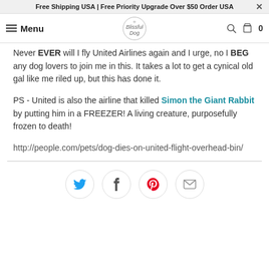Free Shipping USA | Free Priority Upgrade Over $50 Order USA ×
Menu | Blissful Dog | 🔍 🛍 0
Never EVER will I fly United Airlines again and I urge, no I BEG any dog lovers to join me in this. It takes a lot to get a cynical old gal like me riled up, but this has done it.
PS - United is also the airline that killed Simon the Giant Rabbit by putting him in a FREEZER! A living creature, purposefully frozen to death!
http://people.com/pets/dog-dies-on-united-flight-overhead-bin/
[Figure (infographic): Social sharing icons: Twitter (blue bird), Facebook (f), Pinterest (red P), Email (envelope), each in a circular outline button]